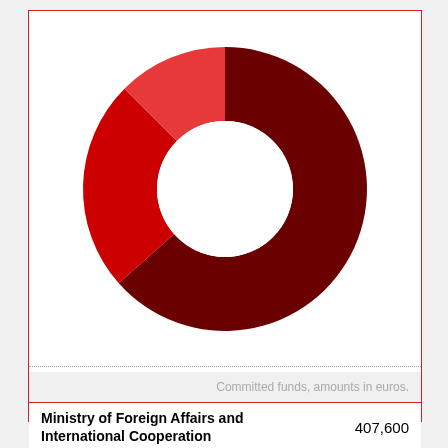[Figure (donut-chart): Budget allocation]
| Category | Amount |
| --- | --- |
| Central administration | 1,067,808 |
| Ministry of Foreign Affairs and International Cooperation | 407,600 |
| Local administration | 208,266 |
Committed funds, amounts in euros.